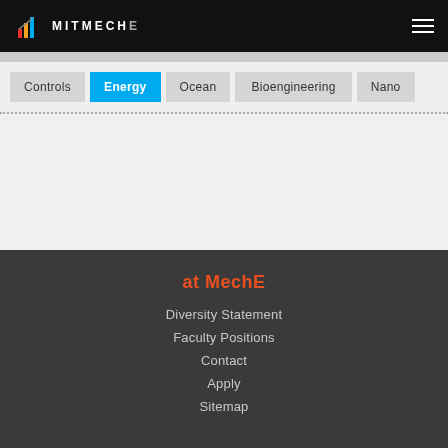MITMECHE
Controls
Energy
Ocean
Bioengineering
Nano
at MechE
Diversity Statement
Faculty Positions
Contact
Apply
Sitemap